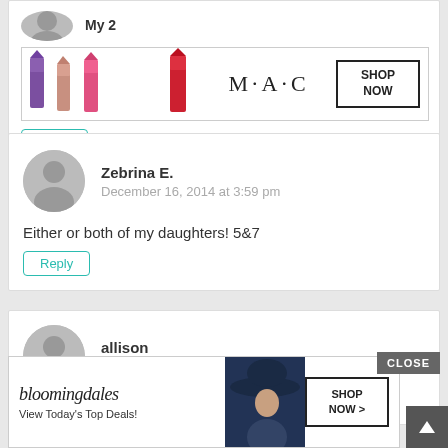[Figure (screenshot): Top partial comment block with 'My 2' text visible and a MAC cosmetics advertisement banner showing lipsticks with 'SHOP NOW' button]
Reply
Zebrina E.
December 16, 2014 at 3:59 pm
Either or both of my daughters! 5&7
Reply
allison
December 16, 2014 at 4:01 pm
My g
[Figure (screenshot): Bloomingdales advertisement banner showing 'View Today's Top Deals!' with a woman in a hat and 'SHOP NOW >' button. CLOSE button visible in top right.]